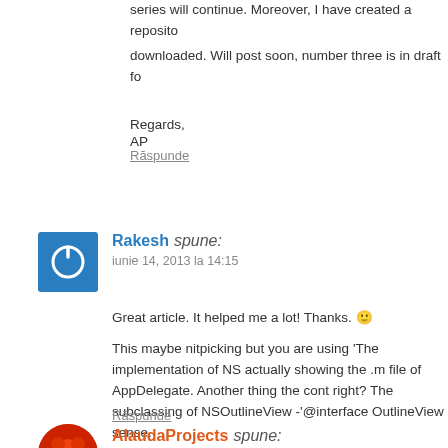series will continue. Moreover, I have created a repository downloaded. Will post soon, number three is in draft for
Regards,
AP
Răspunde
Rakesh spune:
iunie 14, 2013 la 14:15
Great article. It helped me a lot! Thanks. 🙂
This maybe nitpicking but you are using 'The implementation of NS actually showing the .m file of AppDelegate. Another thing the cont right? The subclassing of NSOutlineView -'@interface OutlineView sense.
Răspunde
AlaudaProjects spune: